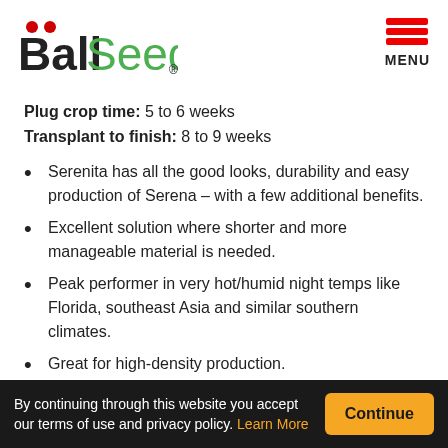[Figure (logo): Ball Seed logo with red dots above 'Ball' and green 'Seed' text, with registered trademark symbol]
Plug crop time: 5 to 6 weeks
Transplant to finish: 8 to 9 weeks
Serenita has all the good looks, durability and easy production of Serena – with a few additional benefits.
Excellent solution where shorter and more manageable material is needed.
Peak performer in very hot/humid night temps like Florida, southeast Asia and similar southern climates.
Great for high-density production.
Grow Serenita with less to no PGRs for cost
By continuing through this website you accept our terms of use and privacy policy. Learn More